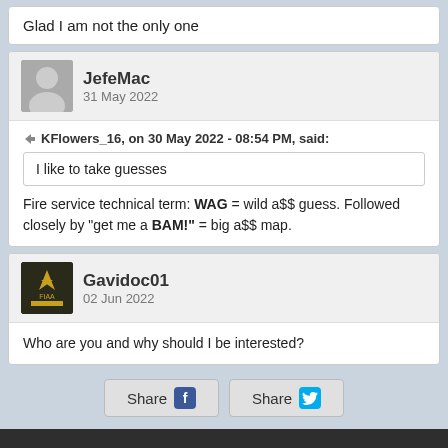Glad I am not the only one
JefeMac
31 May 2022
KFlowers_16, on 30 May 2022 - 08:54 PM, said:
I like to take guesses
Fire service technical term: WAG = wild a$$ guess. Followed closely by “get me a BAM!” = big a$$ map.
Gavidoc01
02 Jun 2022
Who are you and why should I be interested?
Share  Share
We use cookies so that we can offer you the best possible website content and experience. Privacy Policy